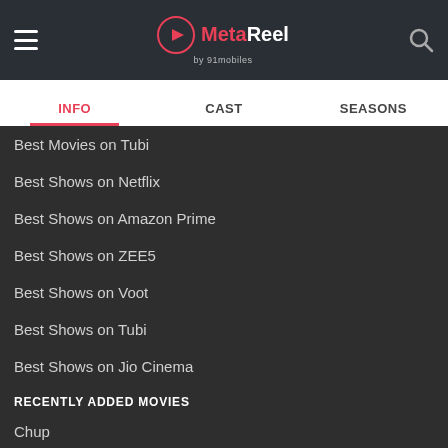MetaReel by 91mobiles
INFO | CAST | SEASONS
Best Movies on Tubi
Best Shows on Netflix
Best Shows on Amazon Prime
Best Shows on ZEE5
Best Shows on Voot
Best Shows on Tubi
Best Shows on Jio Cinema
RECENTLY ADDED MOVIES
Chup
Aa Bhi Ja O Piya
Hoysala